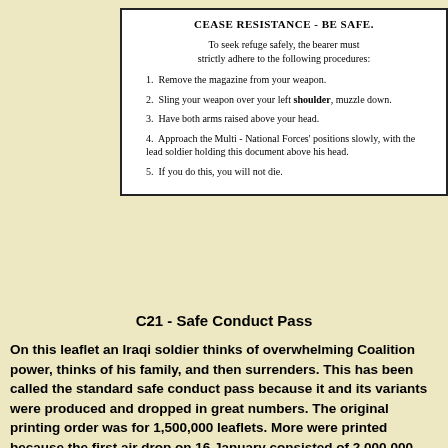[Figure (other): Scanned leaflet document titled 'CEASE RESISTANCE - BE SAFE' with 5 numbered instructions for Iraqi soldiers to surrender safely to Multi-National Forces.]
C21 - Safe Conduct Pass
On this leaflet an Iraqi soldier thinks of overwhelming Coalition power, thinks of his family, and then surrenders. This has been called the standard safe conduct pass because it and its variants were produced and dropped in great numbers. The original printing order was for 1,500,000 leaflets. More were printed because the first air drop on 16 January consisted of 2,000,000